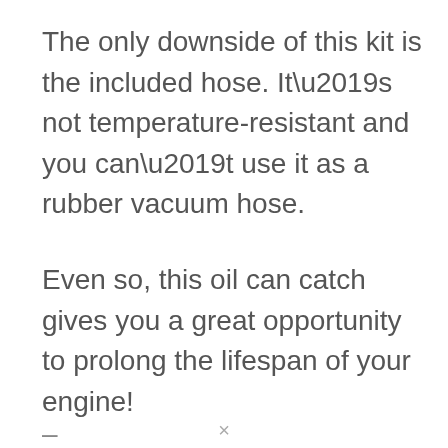The only downside of this kit is the included hose. It’s not temperature-resistant and you can’t use it as a rubber vacuum hose.
Even so, this oil can catch gives you a great opportunity to prolong the lifespan of your engine!
–
×